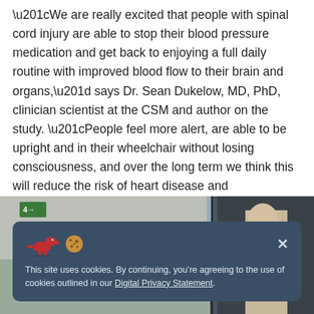“We are really excited that people with spinal cord injury are able to stop their blood pressure medication and get back to enjoying a full daily routine with improved blood flow to their brain and organs,” says Dr. Sean Dukelow, MD, PhD, clinician scientist at the CSM and author on the study. “People feel more alert, are able to be upright and in their wheelchair without losing consciousness, and over the long term we think this will reduce the risk of heart disease and stroke.”
[Figure (photo): Partial photo of a person in what appears to be a hospital or clinical setting, partially obscured by a cookie consent banner. An exit sign is visible in the upper left of the photo.]
This site uses cookies. By continuing, you’re agreeing to the use of cookies outlined in our Digital Privacy Statement.